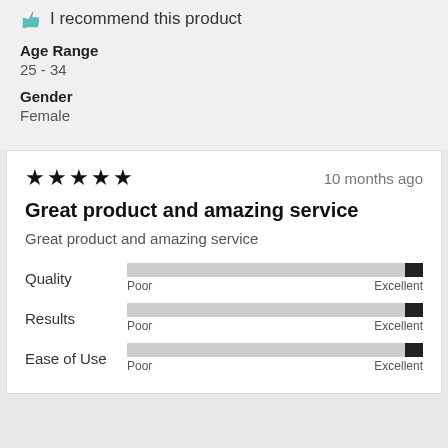[Figure (illustration): Thumbs up icon (teal/green color) next to 'I recommend this product' text]
I recommend this product
Age Range
25 - 34
Gender
Female
★★★★★
10 months ago
Great product and amazing service
Great product and amazing service
Quality — Poor to Excellent bar (near Excellent)
Results — Poor to Excellent bar (near Excellent)
Ease of Use — Poor to Excellent bar (near Excellent)